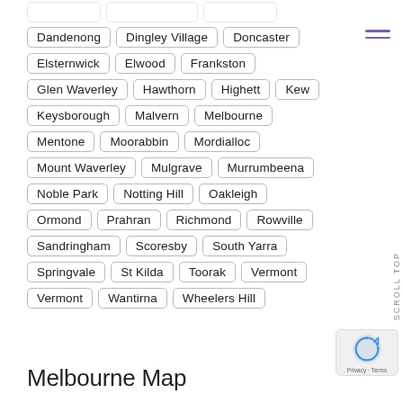Dandenong
Dingley Village
Doncaster
Elsternwick
Elwood
Frankston
Glen Waverley
Hawthorn
Highett
Kew
Keysborough
Malvern
Melbourne
Mentone
Moorabbin
Mordialloc
Mount Waverley
Mulgrave
Murrumbeena
Noble Park
Notting Hill
Oakleigh
Ormond
Prahran
Richmond
Rowville
Sandringham
Scoresby
South Yarra
Springvale
St Kilda
Toorak
Vermont
Vermont
Wantirna
Wheelers Hill
Melbourne Map